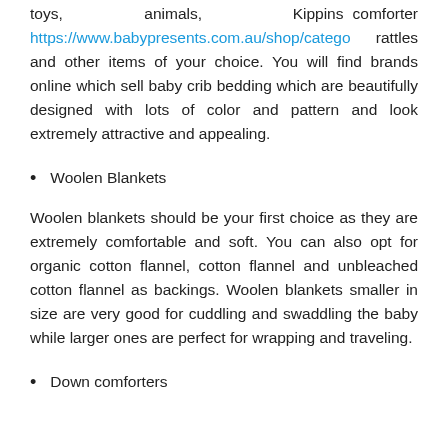toys,          animals,          Kippins comforter https://www.babypresents.com.au/shop/catego rattles and other items of your choice. You will find brands online which sell baby crib bedding which are beautifully designed with lots of color and pattern and look extremely attractive and appealing.
Woolen Blankets
Woolen blankets should be your first choice as they are extremely comfortable and soft. You can also opt for organic cotton flannel, cotton flannel and unbleached cotton flannel as backings. Woolen blankets smaller in size are very good for cuddling and swaddling the baby while larger ones are perfect for wrapping and traveling.
Down comforters